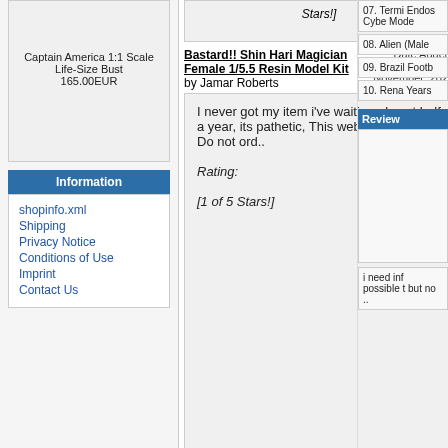Captain America 1:1 Scale Life-Size Bust 165.00EUR
Information
shopinfo.xml
Shipping
Privacy Notice
Conditions of Use
Imprint
Contact Us
Stars!]
Bastard!! Shin Hari Magician Female 1/5.5 Resin Model Kit by Jamar Roberts
Date Added: Wednesday 18 November, 2020
I never got my item i've waiting almost half a year, its pathetic, This website is a scam Do not ord..
Rating:
[1 of 5 Stars!]
Terminator T-800 Skull Head 1/1 Vinyl Model Kit by Stuart Taylor
Date Added: Friday 03 July, 2020
07. Terminator Endoskeleton Cyberdyne Model...
08. Alien (Male...
09. Brazil Football...
10. Rena Years...
Reviews
i need inf possible t but no ..